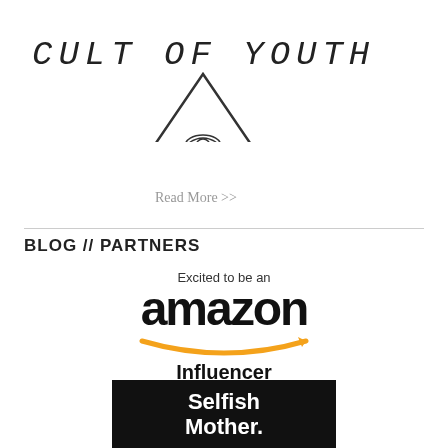[Figure (illustration): Handwritten text 'CULT OF YOUTH' with a hand-drawn eye-in-triangle logo below it]
Read More >>
BLOG // PARTNERS
[Figure (logo): Amazon Influencer logo with text 'Excited to be an', bold 'amazon' in black with orange smile arrow beneath, and 'Influencer' in bold below]
[Figure (logo): Selfish Mother logo: white bold text on black background reading 'Selfish Mother.']